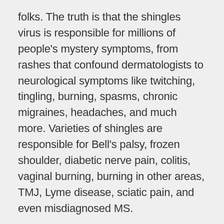folks. The truth is that the shingles virus is responsible for millions of people's mystery symptoms, from rashes that confound dermatologists to neurological symptoms like twitching, tingling, burning, spasms, chronic migraines, headaches, and much more. Varieties of shingles are responsible for Bell's palsy, frozen shoulder, diabetic nerve pain, colitis, vaginal burning, burning in other areas, TMJ, Lyme disease, sciatic pain, and even misdiagnosed MS.
What doctors don't yet know is that there isn't merely one type of shingles virus, but over 30 varieties. This matters because different types of shingles cause different symptoms. It also